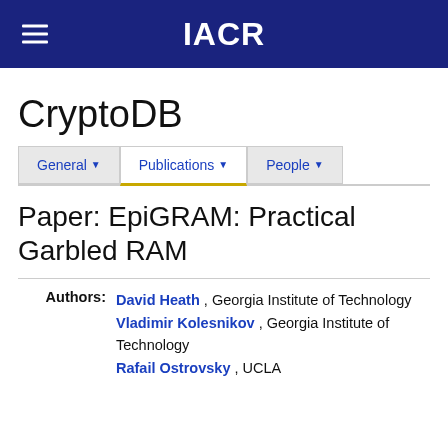IACR
CryptoDB
General | Publications | People
Paper: EpiGRAM: Practical Garbled RAM
Authors: David Heath , Georgia Institute of Technology Vladimir Kolesnikov , Georgia Institute of Technology Rafail Ostrovsky , UCLA